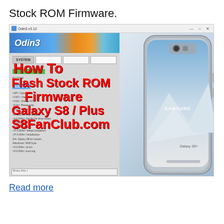Stock ROM Firmware.
[Figure (screenshot): Screenshot of Odin3 v3.12 flashing tool on Windows desktop overlaid with red bold text reading 'How To Flash Stock ROM Firmware Galaxy S8 / Plus S8FanClub.com', with a Samsung Galaxy S8+ phone visible on the right side of the image]
Read more